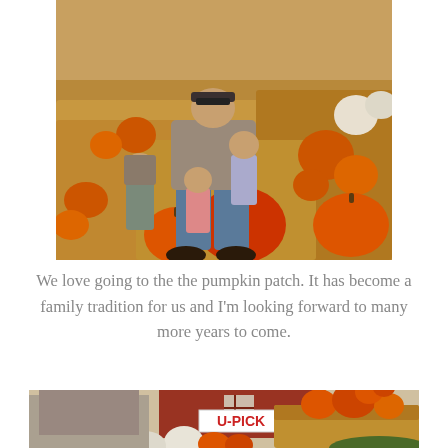[Figure (photo): Family photo at a pumpkin patch. An adult sits on hay bales surrounded by children, with many orange pumpkins and hay bales visible in the background.]
We love going to the the pumpkin patch. It has become a family tradition for us and I'm looking forward to many more years to come.
[Figure (photo): Photo of a U-PICK pumpkin patch with a red barn, hay bales stacked with pumpkins on top, and white and orange pumpkins in the foreground.]